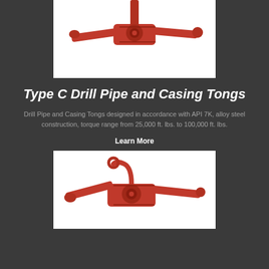[Figure (photo): Red Type C Drill Pipe and Casing Tongs equipment photographed on white background, showing mechanical tong assembly with extended arms]
Type C Drill Pipe and Casing Tongs
Drill Pipe and Casing Tongs designed in accordance with API 7K, alloy steel construction, torque range from 25,000 ft. lbs. to 100,000 ft. lbs.
Learn More
[Figure (photo): Red Type C Drill Pipe and Casing Tongs equipment photographed on white background, showing alternate angle of mechanical tong assembly with extended arms and lifting bail]